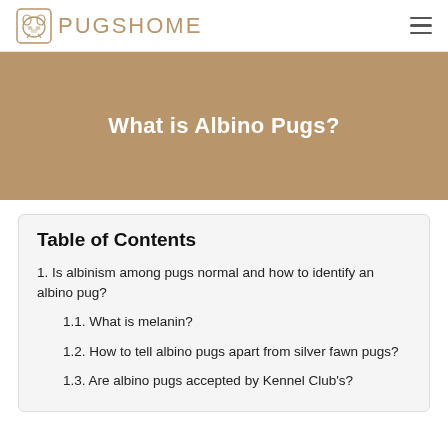PugsHome
What is Albino Pugs?
Table of Contents
1. Is albinism among pugs normal and how to identify an albino pug?
1.1. What is melanin?
1.2. How to tell albino pugs apart from silver fawn pugs?
1.3. Are albino pugs accepted by Kennel Club's?